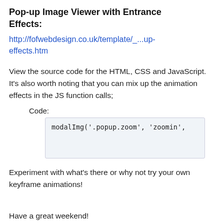Pop-up Image Viewer with Entrance Effects:
http://fofwebdesign.co.uk/template/_...up-effects.htm
View the source code for the HTML, CSS and JavaScript. It's also worth noting that you can mix up the animation effects in the JS function calls;
Code:
modalImg('.popup.zoom', 'zoomin',
Experiment with what's there or why not try your own keyframe animations!
Have a great weekend!